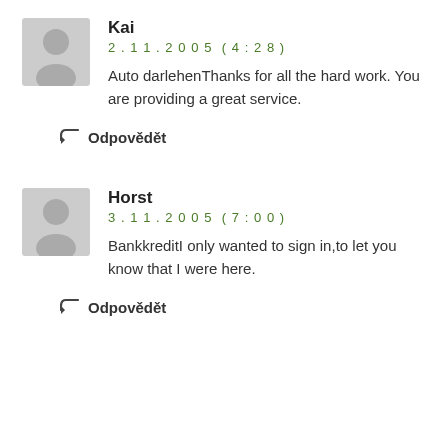Kai
2.11.2005 (4:28)
Auto darlehenThanks for all the hard work. You are providing a great service.
Odpovědět
Horst
3.11.2005 (7:00)
BankkreditI only wanted to sign in,to let you know that I were here.
Odpovědět